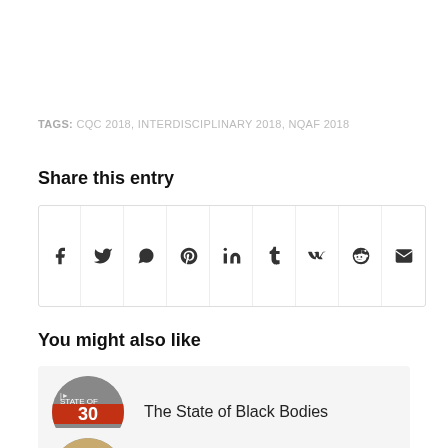TAGS: CQC 2018, INTERDISCIPLINARY 2018, NQAF 2018
Share this entry
[Figure (other): Social sharing icons row: Facebook, Twitter, WhatsApp, Pinterest, LinkedIn, Tumblr, VK, Reddit, Email]
You might also like
[Figure (other): Thumbnail image for 'The State of Black Bodies' article — circular image with red and black graphic]
The State of Black Bodies
[Figure (other): Partial thumbnail image at bottom of page for another article]